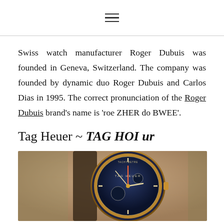≡
Swiss watch manufacturer Roger Dubuis was founded in Geneva, Switzerland. The company was founded by dynamic duo Roger Dubuis and Carlos Dias in 1995. The correct pronunciation of the Roger Dubuis brand's name is 'roe ZHER do BWEE'.
Tag Heuer ~ TAG HOI ur
[Figure (photo): Close-up photograph of a Tag Heuer chronograph watch with a dark blue/navy bezel showing tachymetre markings, gold/rose gold case, on a person's wrist.]